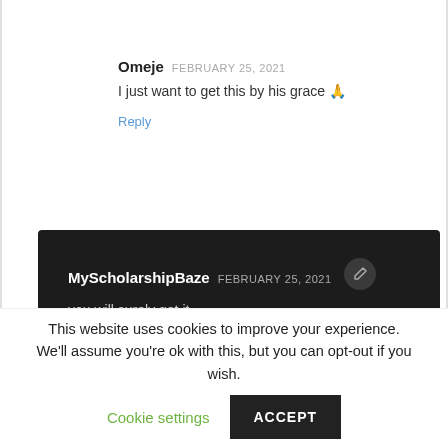Omeje FEBRUARY 25, 2021
I just want to get this by his grace 🙏
Reply
MyScholarshipBaze FEBRUARY 25, 2021
you will surely get it
Reply
This website uses cookies to improve your experience. We'll assume you're ok with this, but you can opt-out if you wish. Cookie settings ACCEPT